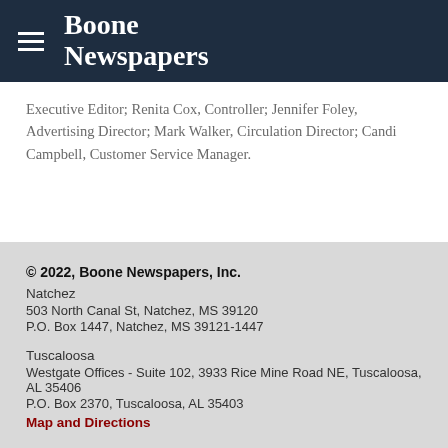[Figure (logo): Boone Newspapers logo with hamburger menu icon on dark navy background]
Executive Editor; Renita Cox, Controller; Jennifer Foley, Advertising Director; Mark Walker, Circulation Director; Candi Campbell, Customer Service Manager.
© 2022, Boone Newspapers, Inc.
Natchez
503 North Canal St, Natchez, MS 39120
P.O. Box 1447, Natchez, MS 39121-1447

Tuscaloosa
Westgate Offices - Suite 102, 3933 Rice Mine Road NE, Tuscaloosa, AL 35406
P.O. Box 2370, Tuscaloosa, AL 35403
Map and Directions